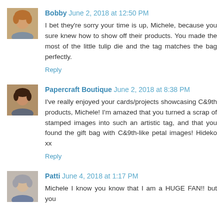Bobby June 2, 2018 at 12:50 PM
I bet they're sorry your time is up, Michele, because you sure knew how to show off their products. You made the most of the little tulip die and the tag matches the bag perfectly.
Reply
Papercraft Boutique June 2, 2018 at 8:38 PM
I've really enjoyed your cards/projects showcasing C&9th products, Michele! I'm amazed that you turned a scrap of stamped images into such an artistic tag, and that you found the gift bag with C&9th-like petal images! Hideko xx
Reply
Patti June 4, 2018 at 1:17 PM
Michele I know you know that I am a HUGE FAN!! but you